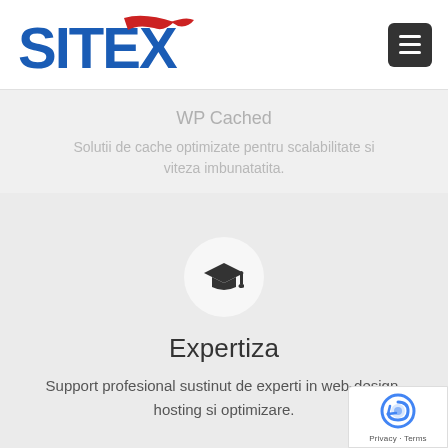[Figure (logo): SITEX logo with blue bold text and red checkmark/swoosh above the X]
[Figure (illustration): Hamburger menu icon - three white horizontal lines on dark square background with rounded corners]
WP Cached
Solutii de cache optimizate pentru scalabilitate si viteza imbunatatita.
[Figure (illustration): Graduation cap icon inside a light grey circle]
Expertiza
Support profesional sustinut de experti in web-design, hosting si optimizare.
[Figure (illustration): Download/arrow-down icon inside a light grey circle (partially visible at bottom)]
[Figure (illustration): reCAPTCHA badge with Google reCAPTCHA logo and Privacy - Terms text]